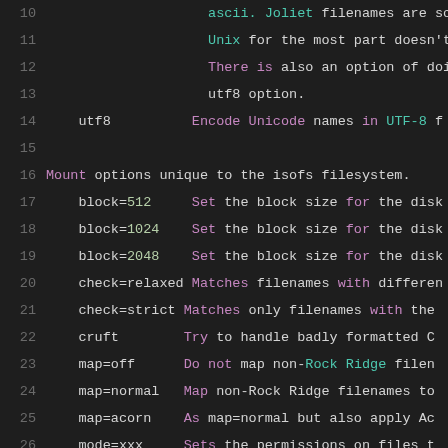10   ascii.  Joliet filenames are sc
11          Unix for the most part doesn't
12          There is also an option of doing
13          utf8 option.
14   utf8   Encode Unicode names in UTF-8 f
15
16   Mount options unique to the isofs filesystem.
17     block=512   Set the block size for the disk
18     block=1024  Set the block size for the disk
19     block=2048  Set the block size for the disk
20     check=relaxed Matches filenames with differe
21     check=strict Matches only filenames with the
22     cruft        Try to handle badly formatted C
23     map=off      Do not map non-Rock Ridge filen
24     map=normal   Map non-Rock Ridge filenames to
25     map=acorn    As map=normal but also apply Ac
26     mode=xxx     Sets the permissions on files t
27                  extensions set the permissions
28     dmode=xxx    Sets the permissions on directo
29                  extensions set the permissions
30     overriderockperm Set permissions on files and
31                  'mode' and 'dmode' even though